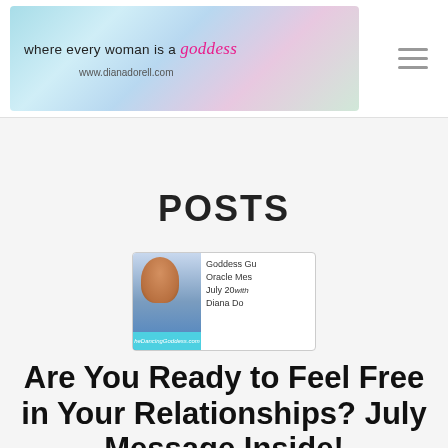where every woman is a goddess — www.dianadorell.com
POSTS
[Figure (screenshot): Thumbnail image for a video/post titled 'Goddess Gu Oracle Mes July 20 with Diana Do' on TheDancingGoddess.com, showing a woman's photo on the left and text on the right with a cyan bar at the bottom.]
Are You Ready to Feel Free in Your Relationships? July Message Inside!